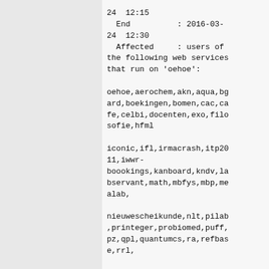24  12:15
  End          : 2016-03-24  12:30
  Affected     : users of the following web services that run on 'oehoe':

oehoe,aerochem,akn,aqua,bgard,boekingen,bomen,cac,cafe,celbi,docenten,exo,filosofie,hfml

iconic,ifl,irmacrash,itp2011,iwwr-boookings,kanboard,kndv,labservant,math,mbfys,mbp,mealab,

nieuwescheikunde,nlt,pilab,printeger,probiomed,puff,pz,qpl,quantumcs,ra,refbase,rrl,

scheikundeolympiade,siam,sigma-